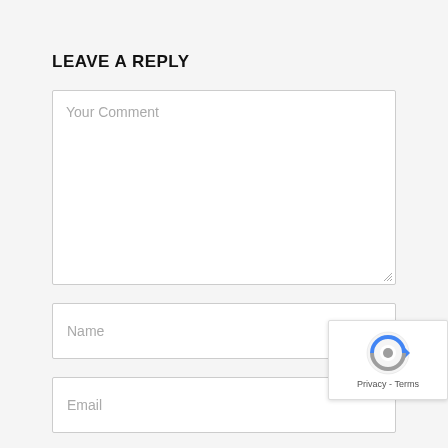LEAVE A REPLY
Your Comment
Name
Email
[Figure (logo): reCAPTCHA badge with blue and grey logo icon and Privacy - Terms text]